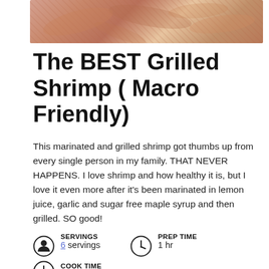[Figure (photo): Close-up photo of grilled shrimp]
The BEST Grilled Shrimp ( Macro Friendly)
This marinated and grilled shrimp got thumbs up from every single person in my family. THAT NEVER HAPPENS. I love shrimp and how healthy it is, but I love it even more after it's been marinated in lemon juice, garlic and sugar free maple syrup and then grilled. SO good!
SERVINGS
6 servings
PREP TIME
1 hr
COOK TIME
10 mins